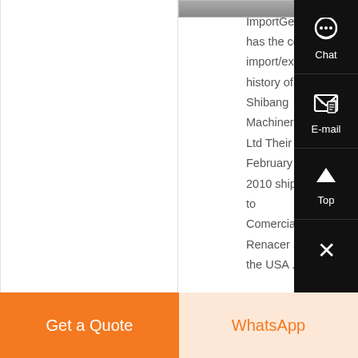[Figure (photo): Partial product/machinery image at top]
ImportGenius has the complete import/export history of Shibang Machinery Co, Ltd Their February 06, 2010 shipment to Comercializadora Renacer Sa in the USA ....
Know More
Chat
E-mail
Top
Get a Quote
WhatsApp